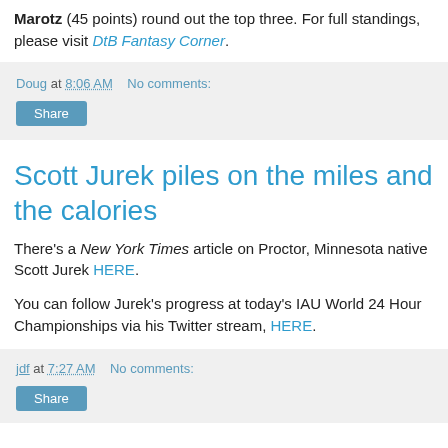Marotz (45 points) round out the top three. For full standings, please visit DtB Fantasy Corner.
Doug at 8:06 AM   No comments:
Share
Scott Jurek piles on the miles and the calories
There's a New York Times article on Proctor, Minnesota native Scott Jurek HERE.
You can follow Jurek's progress at today's IAU World 24 Hour Championships via his Twitter stream, HERE.
jdf at 7:27 AM   No comments:
Share